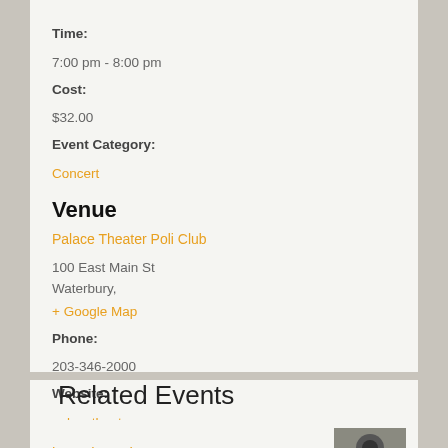Time:
7:00 pm - 8:00 pm
Cost:
$32.00
Event Category:
Concert
Venue
Palace Theater Poli Club
100 East Main St
Waterbury,
+ Google Map
Phone:
203-346-2000
Website:
palacetheater.org
Related Events
Big Bad Voodoo